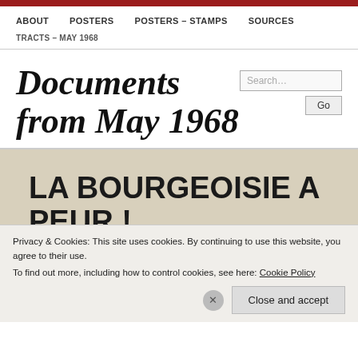ABOUT  POSTERS  POSTERS – STAMPS  SOURCES
TRACTS – MAY 1968
Documents from May 1968
[Figure (photo): Handwritten poster text reading 'LA BOURGEOISIE A PEUR! LE POUVOIR AUX ABOIS PROVOQUE']
Privacy & Cookies: This site uses cookies. By continuing to use this website, you agree to their use. To find out more, including how to control cookies, see here: Cookie Policy
Close and accept